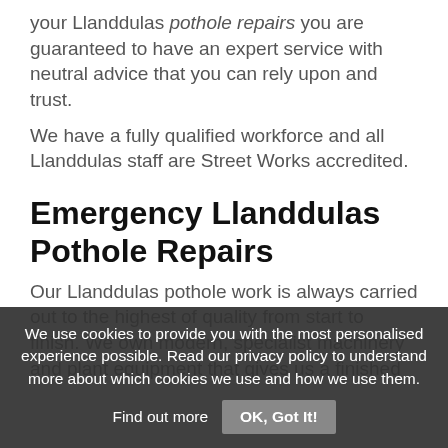your Llanddulas pothole repairs you are guaranteed to have an expert service with neutral advice that you can rely upon and trust.

We have a fully qualified workforce and all Llanddulas staff are Street Works accredited.
Emergency Llanddulas Pothole Repairs
Our Llanddulas pothole work is always carried out to the highest of quality from start to finish. We own modern, specialist machinery and plant equipment that gives us a finished
We use cookies to provide you with the most personalised experience possible. Read our privacy policy to understand more about which cookies we use and how we use them. Find out more  OK, Got It!